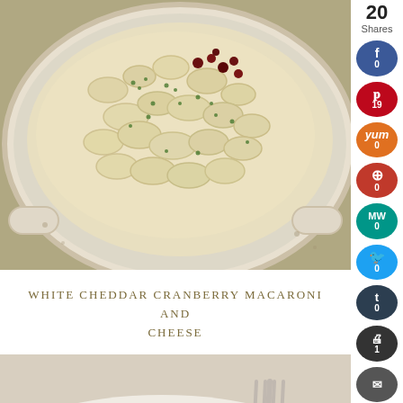[Figure (photo): Top-down photo of white cheddar cranberry macaroni and cheese in a white ceramic baking dish, with dried cranberries and fresh herbs visible on top.]
WHITE CHEDDAR CRANBERRY MACARONI AND CHEESE
[Figure (photo): Close-up photo of a plated pasta dish with meat and green herb garnish on a fork, with homelife watermark visible.]